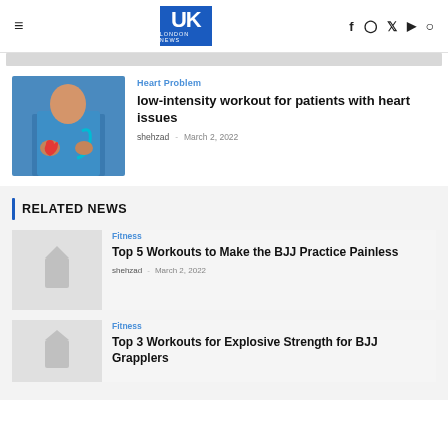UK London News — navigation header with hamburger menu, logo, social icons (f, Instagram, Twitter, YouTube, Search)
[Figure (photo): Gray placeholder strip at top of page]
[Figure (photo): Doctor or nurse in blue scrubs holding a red heart and a stethoscope]
Heart Problem
low-intensity workout for patients with heart issues
shehzad - March 2, 2022
RELATED NEWS
Fitness
Top 5 Workouts to Make the BJJ Practice Painless
shehzad - March 2, 2022
Fitness
Top 3 Workouts for Explosive Strength for BJJ Grapplers